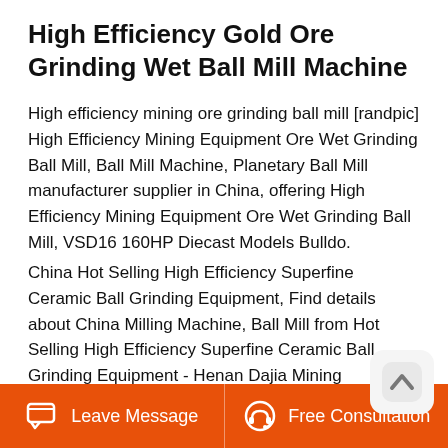High Efficiency Gold Ore Grinding Wet Ball Mill Machine
High efficiency mining ore grinding ball mill [randpic] High Efficiency Mining Equipment Ore Wet Grinding Ball Mill, Ball Mill Machine, Planetary Ball Mill manufacturer supplier in China, offering High Efficiency Mining Equipment Ore Wet Grinding Ball Mill, VSD16 160HP Diecast Models Bulldo.
China Hot Selling High Efficiency Superfine Ceramic Ball Grinding Equipment, Find details about China Milling Machine, Ball Mill from Hot Selling High Efficiency Superfine Ceramic Ball Grinding Equipment - Henan Dajia Mining Machinery .
Leave Message   Free Consultation